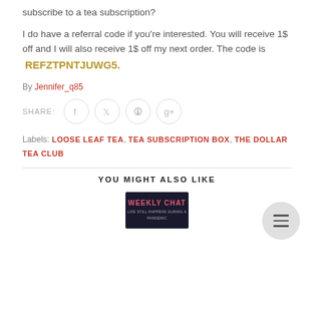subscribe to a tea subscription?
I do have a referral code if you're interested. You will receive 1$ off and I will also receive 1$ off my next order. The code is REFZTPNTJUWG5.
By Jennifer_q85
SHARE:
Labels: LOOSE LEAF TEA, TEA SUBSCRIPTION BOX, THE DOLLAR TEA CLUB
YOU MIGHT ALSO LIKE
[Figure (photo): Weekly Chat image with dark background and pink text]